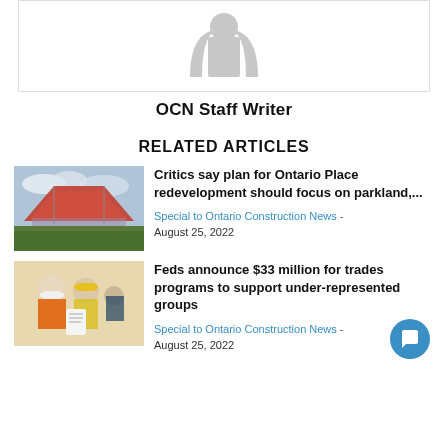[Figure (illustration): Generic author avatar placeholder — two grey arched shapes representing a person silhouette on white background]
OCN Staff Writer
RELATED ARTICLES
[Figure (photo): Aerial or wide-angle photo of Ontario Place stadium/venue with crowd and red roof structure]
Critics say plan for Ontario Place redevelopment should focus on parkland,...
Special to Ontario Construction News - August 25, 2022
[Figure (photo): Photo of construction workers in hard hats reviewing documents on a job site]
Feds announce $33 million for trades programs to support under-represented groups
Special to Ontario Construction News - August 25, 2022